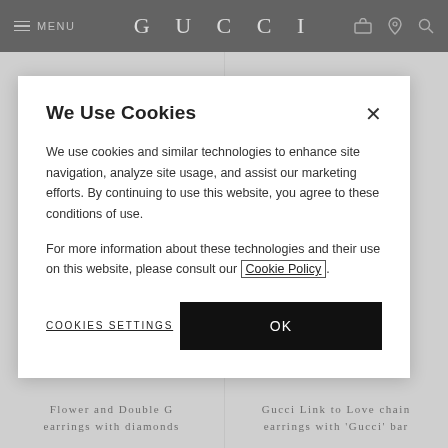MENU   GUCCI
[Figure (screenshot): Gucci e-commerce product grid showing jewelry earrings on light grey background. Left tile: 'Flower and Double G earrings with diamonds'. Right tile: 'Gucci Link to Love chain earrings with Gucci bar'.]
We Use Cookies
We use cookies and similar technologies to enhance site navigation, analyze site usage, and assist our marketing efforts. By continuing to use this website, you agree to these conditions of use.
For more information about these technologies and their use on this website, please consult our Cookie Policy.
COOKIES SETTINGS
OK